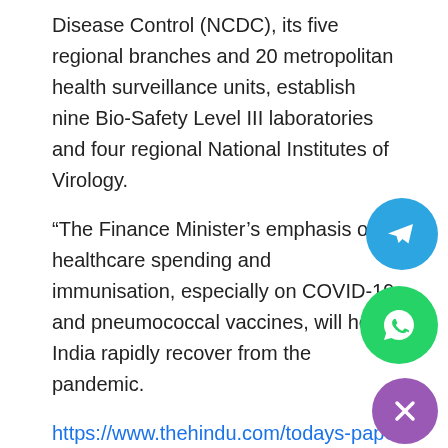Disease Control (NCDC), its five regional branches and 20 metropolitan health surveillance units, establish nine Bio-Safety Level III laboratories and four regional National Institutes of Virology.
“The Finance Minister’s emphasis on healthcare spending and immunisation, especially on COVID-19 and pneumococcal vaccines, will help India rapidly recover from the pandemic.
https://www.thehindu.com/todays-paper/tp-miscellaneous/tp-others/137-increase-in-health-and-being-spend/article33722694.ece
Rs. 50,000 cr. for National Research Foundation
Finance Minister Nirmala Sitharaman earmarked Rs. 50,000 crore over five years for the creation of a National Research